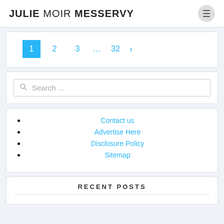JULIE MOIR MESSERVY
[Figure (other): Pagination navigation: current page 1 (blue square), then pages 2, 3, ..., 32, and a next arrow >]
[Figure (other): Search input field with magnifying glass icon and placeholder text 'Search ...']
Contact us
Advertise Here
Disclosure Policy
Sitemap
RECENT POSTS